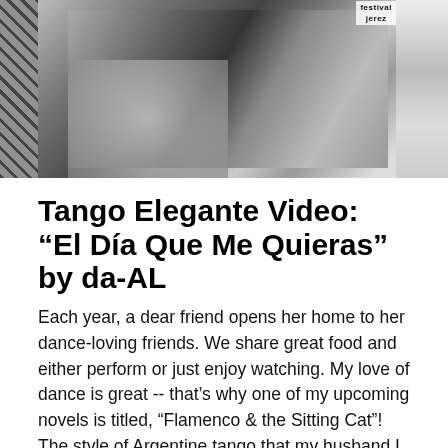[Figure (photo): Black and white photo of a couple dancing tango, with a woman in a polka dot dress and a man in a dark suit, lattice background on the left and a partial flamenco-style image on the right with a 'festival jerez' banner visible.]
Tango Elegante Video: “El Día Que Me Quieras” by da-AL
Each year, a dear friend opens her home to her dance-loving friends. We share great food and either perform or just enjoy watching. My love of dance is great -- that's why one of my upcoming novels is titled, "Flamenco & the Sitting Cat"! The style of Argentine tango that my husband I … Continue reading →